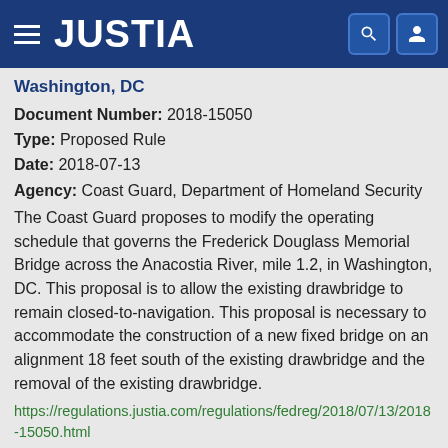JUSTIA
Washington, DC
Document Number: 2018-15050
Type: Proposed Rule
Date: 2018-07-13
Agency: Coast Guard, Department of Homeland Security
The Coast Guard proposes to modify the operating schedule that governs the Frederick Douglass Memorial Bridge across the Anacostia River, mile 1.2, in Washington, DC. This proposal is to allow the existing drawbridge to remain closed-to-navigation. This proposal is necessary to accommodate the construction of a new fixed bridge on an alignment 18 feet south of the existing drawbridge and the removal of the existing drawbridge.
https://regulations.justia.com/regulations/fedreg/2018/07/13/2018-15050.html